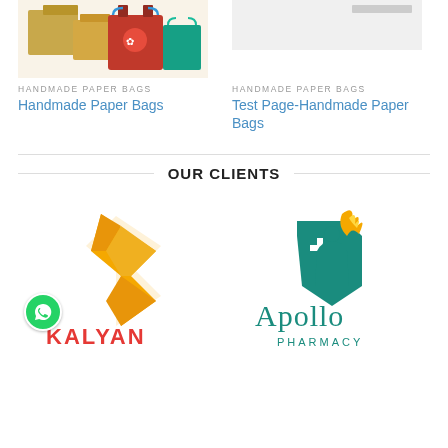[Figure (photo): Photo of handmade paper bags with colorful fabric bags]
[Figure (photo): Partial image at top right - handmade paper bags]
HANDMADE PAPER BAGS
Handmade Paper Bags
HANDMADE PAPER BAGS
Test Page-Handmade Paper Bags
OUR CLIENTS
[Figure (logo): Kalyan Jewellers logo - gold geometric K shape with red and white text KALYAN JEWELLERS, with WhatsApp icon overlay]
[Figure (logo): Apollo Pharmacy logo - teal mortar and pestle with flame icon and Apollo Pharmacy text in teal]